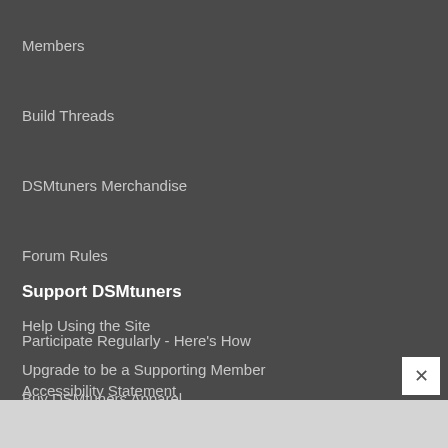Members
Build Threads
DSMtuners Merchandise
Forum Rules
Help Using the Site
Accessibility Statement
Support DSMtuners
Participate Regularly - Here's How
Upgrade to be a Supporting Member
Buy DSMtuners Apparel
Get Some DSMtuners Decals